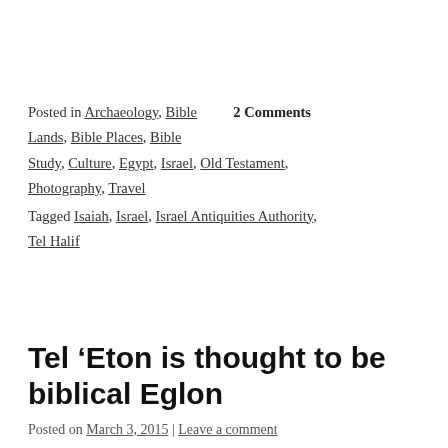Posted in Archaeology, Bible Lands, Bible Places, Bible Study, Culture, Egypt, Israel, Old Testament, Photography, Travel   2 Comments
Tagged Isaiah, Israel, Israel Antiquities Authority, Tel Halif
Tel 'Eton is thought to be biblical Eglon
Posted on March 3, 2015 | Leave a comment
Tel 'Eton (also Tel Eiton and Tel Aitun) is not the easiest archaeological site to locate. The site is situated on Israel's border with the Palestinian West Bank. Palestine is on the east side of the mound and a military firing range is on the west side. When Jesus Mendling and I...